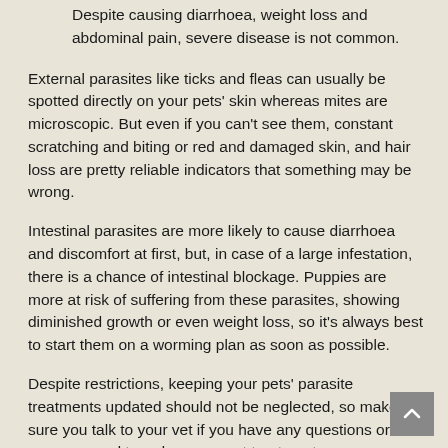Despite causing diarrhoea, weight loss and abdominal pain, severe disease is not common.
External parasites like ticks and fleas can usually be spotted directly on your pets' skin whereas mites are microscopic. But even if you can't see them, constant scratching and biting or red and damaged skin, and hair loss are pretty reliable indicators that something may be wrong.
Intestinal parasites are more likely to cause diarrhoea and discomfort at first, but, in case of a large infestation, there is a chance of intestinal blockage. Puppies are more at risk of suffering from these parasites, showing diminished growth or even weight loss, so it's always best to start them on a worming plan as soon as possible.
Despite restrictions, keeping your pets' parasite treatments updated should not be neglected, so make sure you talk to your vet if you have any questions or concerns and to order your next treatments.